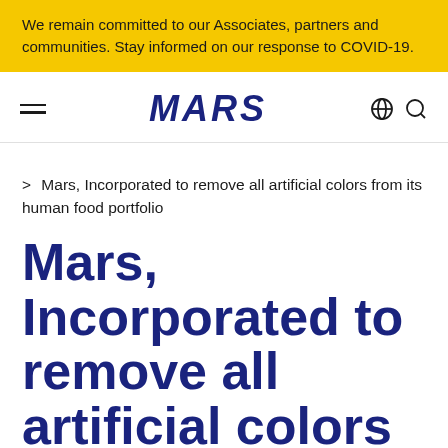We remain committed to our Associates, partners and communities. Stay informed on our response to COVID-19.
MARS
> Mars, Incorporated to remove all artificial colors from its human food portfolio
Mars, Incorporated to remove all artificial colors from its human food portfolio